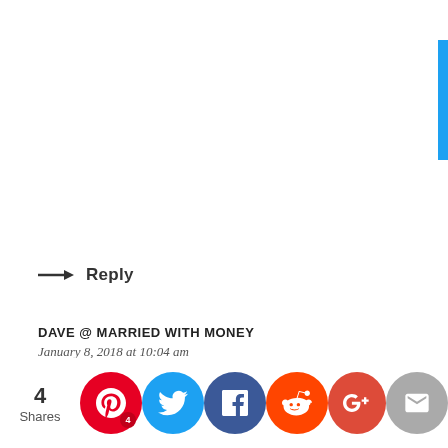[Figure (screenshot): Blue vertical bar at top right edge of page]
→ Reply
DAVE @ MARRIED WITH MONEY
January 8, 2018 at 10:04 am
Those are some great things to give up that don't cost
[Figure (infographic): Social share bar at bottom: 4 Shares count, then Pinterest (red, badge 4), Twitter (blue), Facebook (dark blue), Reddit (orange-red), Google+ (red-orange, partially visible), Email (gray), Crown/Sumo (blue)]